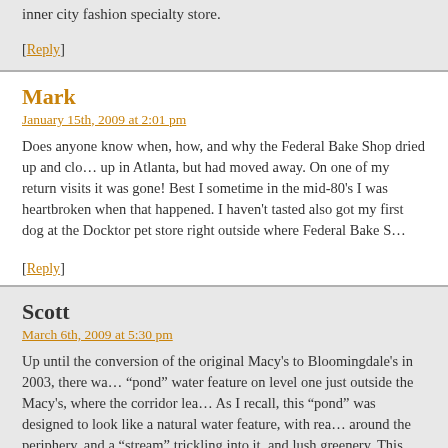inner city fashion specialty store.
[Reply]
Mark
January 15th, 2009 at 2:01 pm
Does anyone know when, how, and why the Federal Bake Shop dried up and closed? I grew up in Atlanta, but had moved away. On one of my return visits it was gone! Best I can recall, sometime in the mid-80's I was heartbroken when that happened. I haven't tasted anything like it. I also got my first dog at the Docktor pet store right outside where Federal Bake Sh...
[Reply]
Scott
March 6th, 2009 at 5:30 pm
Up until the conversion of the original Macy's to Bloomingdale's in 2003, there was a small "pond" water feature on level one just outside the Macy's, where the corridor lead... As I recall, this "pond" was designed to look like a natural water feature, with real... around the periphery, and a "stream" trickling into it, and lush greenery. This feat... mall management – I recall signs asking patrons to please NOT throw coins in) w... floor paved over just before the conversion to Bloomie's. I'd guess Bloomie's ma...